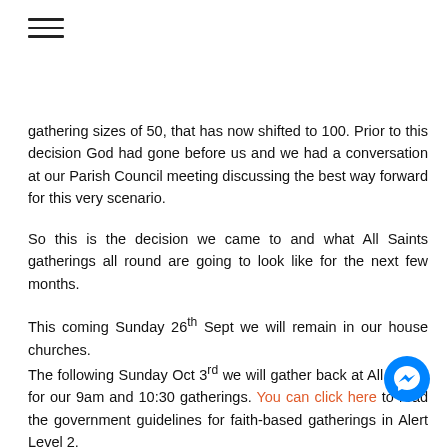[Figure (other): Hamburger menu icon (three horizontal lines)]
gathering sizes of 50, that has now shifted to 100. Prior to this decision God had gone before us and we had a conversation at our Parish Council meeting discussing the best way forward for this very scenario.
So this is the decision we came to and what All Saints gatherings all round are going to look like for the next few months.
This coming Sunday 26th Sept we will remain in our house churches.
The following Sunday Oct 3rd we will gather back at All Saints for our 9am and 10:30 gatherings. You can click here to read the government guidelines for faith-based gatherings in Alert Level 2.
Now that we can meet in numbers up to 100, it would be really easy for us to go forward as we always have, with
[Figure (other): Facebook Messenger chat button (blue circle with lightning bolt icon)]